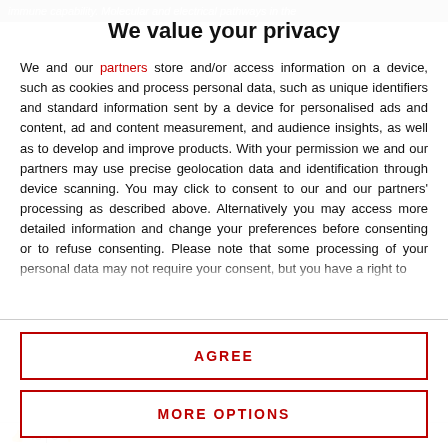immune capability. Molecular and electrical pathways in the
We value your privacy
We and our partners store and/or access information on a device, such as cookies and process personal data, such as unique identifiers and standard information sent by a device for personalised ads and content, ad and content measurement, and audience insights, as well as to develop and improve products. With your permission we and our partners may use precise geolocation data and identification through device scanning. You may click to consent to our and our partners' processing as described above. Alternatively you may access more detailed information and change your preferences before consenting or to refuse consenting. Please note that some processing of your personal data may not require your consent, but you have a right to
AGREE
MORE OPTIONS
48 | 3